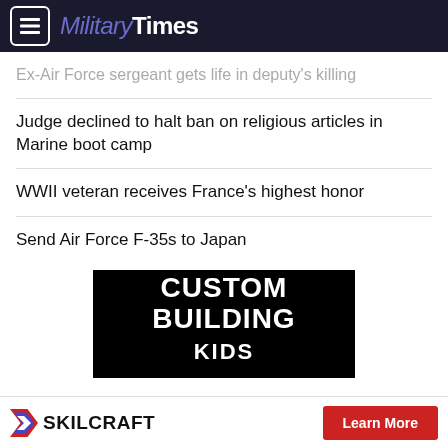Military Times
Ex-Air Force sergeant gets life in deputy's killing
Judge declined to halt ban on religious articles in Marine boot camp
WWII veteran receives France's highest honor
Send Air Force F-35s to Japan
[Figure (screenshot): Advertisement banner with black background showing text 'CUSTOM BUILDING KIDS' in bold stencil-style white lettering]
[Figure (screenshot): Bottom advertisement bar: Skilcraft logo (chevron icon) with 'SKILCRAFT' text and red 'Learn More' button]